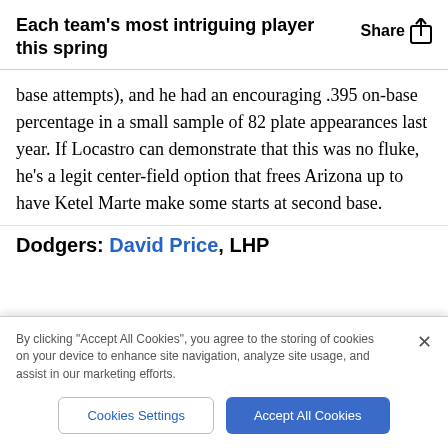Each team's most intriguing player this spring
base attempts), and he had an encouraging .395 on-base percentage in a small sample of 82 plate appearances last year. If Locastro can demonstrate that this was no fluke, he’s a legit center-field option that frees Arizona up to have Ketel Marte make some starts at second base.
Dodgers: David Price, LHP
By clicking “Accept All Cookies”, you agree to the storing of cookies on your device to enhance site navigation, analyze site usage, and assist in our marketing efforts.